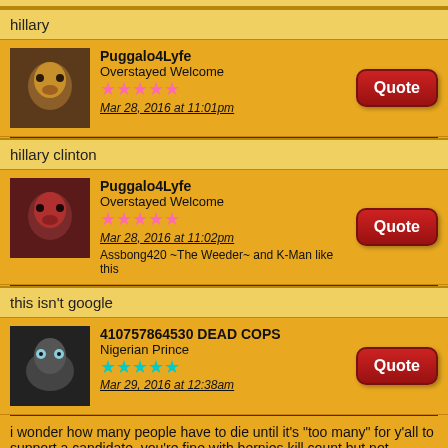hillary
Puggalo4Lyfe
Overstayed Welcome
★★★★★
Mar 28, 2016 at 11:01pm
hillary clinton
Puggalo4Lyfe
Overstayed Welcome
★★★★★
Mar 28, 2016 at 11:02pm
Assbong420 ~The Weeder~ and K-Man like this
this isn't google
410757864530 DEAD COPS
Nigerian Prince
★★★★★
Mar 29, 2016 at 12:38am
i wonder how many people have to die until it's "too many" for y'all to support a candidate. you're fine with bernies kill count but not hillarys. where do u draw the line